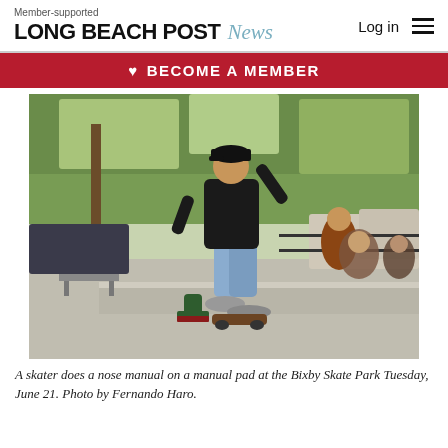Member-supported LONG BEACH POST News | Log in
♥ BECOME A MEMBER
[Figure (photo): A skater performing a nose manual on a manual pad at the Bixby Skate Park. The skater wears a black cap, black shirt, and light blue jeans. Background shows parked cars, trees, and spectators.]
A skater does a nose manual on a manual pad at the Bixby Skate Park Tuesday, June 21. Photo by Fernando Haro.